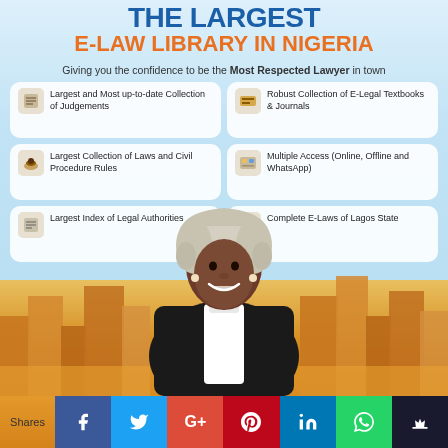THE LARGEST E-LAW LIBRARY IN NIGERIA
Giving you the confidence to be the Most Respected Lawyer in town
Largest and Most up-to-date Collection of Judgements
Robust Collection of E-Legal Textbooks & Journals
Largest Collection of Laws and Civil Procedure Rules
Multiple Access (Online, Offline and WhatsApp)
Largest Index of Legal Authorities
Complete E-Laws of Lagos State
[Figure (photo): Female lawyer in black barrister robe and white wig, smiling, standing in front of city skyline with warm golden lighting]
Shares
[Figure (infographic): Social media sharing buttons: Facebook, Twitter, Google+, Pinterest, LinkedIn, WhatsApp, and a crown/bookmark icon]